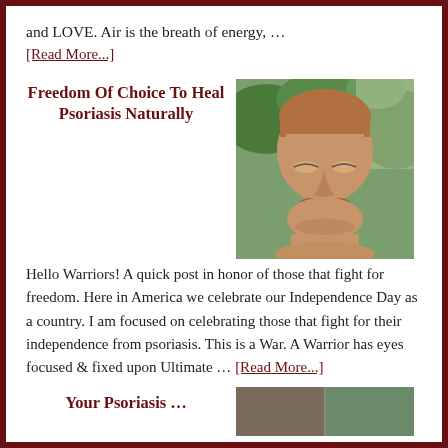and LOVE. Air is the breath of energy, …
[Read More...]
Freedom Of Choice To Heal Psoriasis Naturally
[Figure (photo): A man with a mustache looking downward, shirtless, outdoors with green foliage in background.]
Hello Warriors! A quick post in honor of those that fight for freedom. Here in America we celebrate our Independence Day as a country. I am focused on celebrating those that fight for their independence from psoriasis. This is a War. A Warrior has eyes focused & fixed upon Ultimate … [Read More...]
Your Psoriasis …